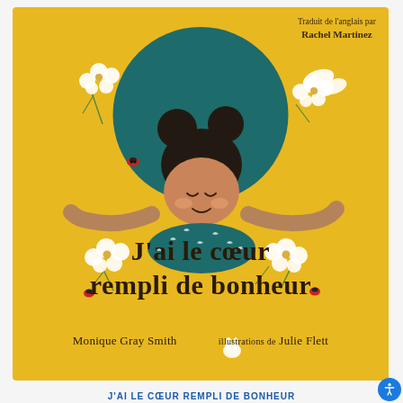[Figure (illustration): Book cover of 'J'ai le coeur rempli de bonheur' (French translation of 'My Heart Fills With Happiness'). Yellow background with a large teal circle in the center. A girl with dark hair in two buns lies on her back with arms outstretched, smiling with eyes closed. White flowers (daisies/cherry blossoms) and a white butterfly surround her. A small ladybug is visible. Author: Monique Gray Smith. Illustrations by Julie Flett. Translated by Rachel Martinez.]
J'AI LE CŒUR REMPLI DE BONHEUR